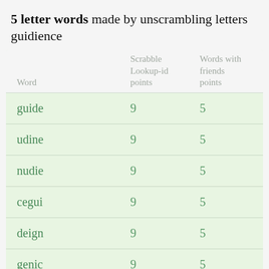5 letter words made by unscrambling letters guidience
| Word | Scrabble Lookup-id points | Words with friends points |
| --- | --- | --- |
| guide | 9 | 5 |
| udine | 9 | 5 |
| nudie | 9 | 5 |
| cegui | 9 | 5 |
| deign | 9 | 5 |
| genic | 9 | 5 |